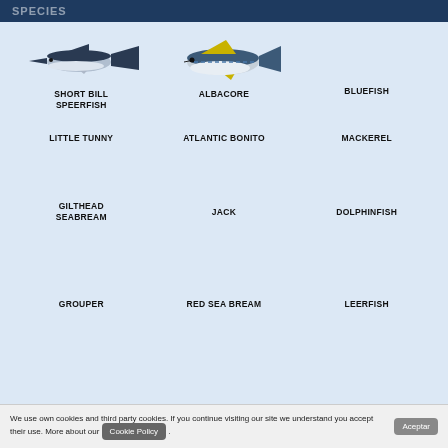SPECIES
[Figure (illustration): Illustration of Short Bill Speerfish (billfish/marlin-like fish, dark blue-grey)]
SHORT BILL SPEERFISH
[Figure (illustration): Illustration of Albacore tuna (silver-blue fish with yellow fins)]
ALBACORE
BLUEFISH
LITTLE TUNNY
ATLANTIC BONITO
MACKEREL
GILTHEAD SEABREAM
JACK
DOLPHINFISH
GROUPER
RED SEA BREAM
LEERFISH
We use own cookies and third party cookies. If you continue visiting our site we understand you accept their use. More about our Cookie Policy .